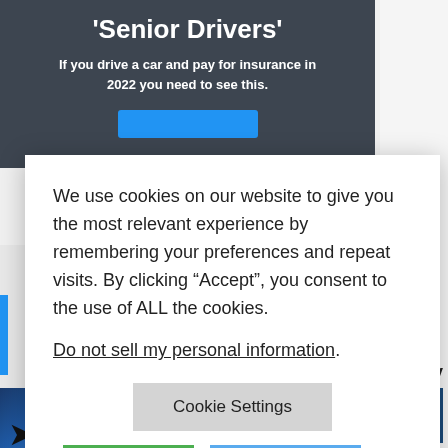'Senior Drivers'
If you drive a car and pay for insurance in 2022 you need to see this.
We use cookies on our website to give you the most relevant experience by remembering your preferences and repeat visits. By clicking “Accept”, you consent to the use of ALL the cookies.
Do not sell my personal information.
Cookie Settings
Accept
Reject All
$45B Collapse
August 15, 2022